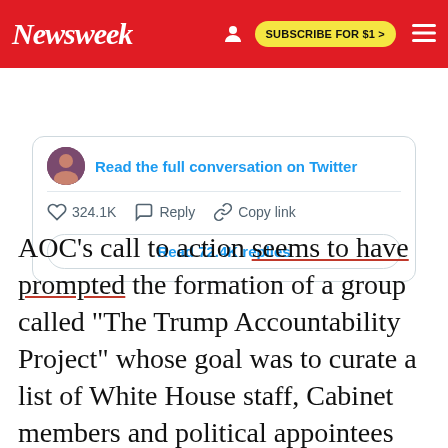Newsweek — SUBSCRIBE FOR $1 >
[Figure (screenshot): Embedded tweet card showing a profile avatar, 'Read the full conversation on Twitter' link, 324.1K likes, Reply, Copy link actions, and a 'Read 72.4K replies' button]
AOC's call to action seems to have prompted the formation of a group called "The Trump Accountability Project" whose goal was to curate a list of White House staff, Cabinet members and political appointees across the U.S. government whose jobs were linked to the Trump administration, in order to blacklist them